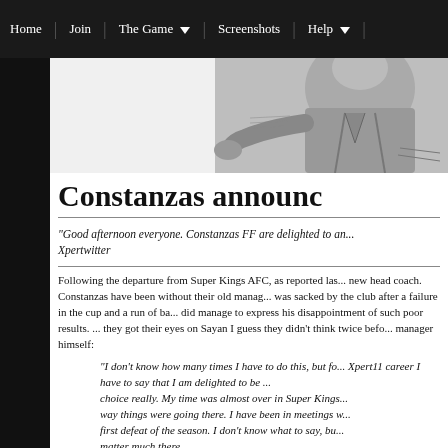Home | Join | The Game ▼ | Screenshots | Help ▼ |
[Figure (illustration): Sketch/illustration of a person (manager figure) in the upper right header area, black and white pencil drawing style]
Constanzas announc
"Good afternoon everyone. Constanzas FF are delighted to ann... Xpertwitter
Following the departure from Super Kings AFC, as reported la... new head coach. Constanzas have been without their old mana... was sacked by the club after a failure in the cup and a run of ba... did manage to express his disappointment of such poor results. ... they got their eyes on Sayan I guess they didn't think twice bef... manager himself:
"I don't know how many times I have to do this, but fo... Xpert11 career I have to say that I am delighted to be ... choice really. My time was almost over in Super Kings... way things were going there. I have been in meetings w... first defeat of the season. I don't know what to say, bu... matter much there.
"Following last season's successful league campaign, ... contract extension, which I refused as I didn't want to ... right. The club wasn't moving forward with me anyway... than last. I guess the rumours about losing the dressin...